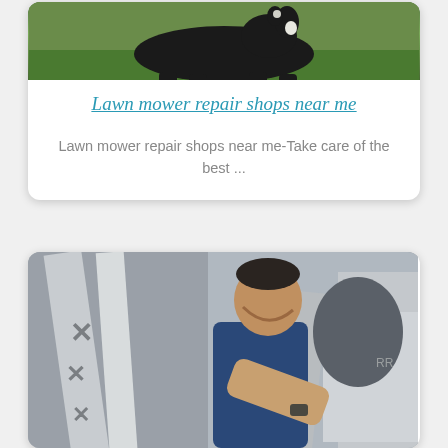[Figure (photo): Photo of a dog or animal on green grass, partially visible at top of card]
Lawn mower repair shops near me
Lawn mower repair shops near me-Take care of the best ...
[Figure (photo): Photo of a man in a blue shirt leaning over and working on exercise equipment or machinery]